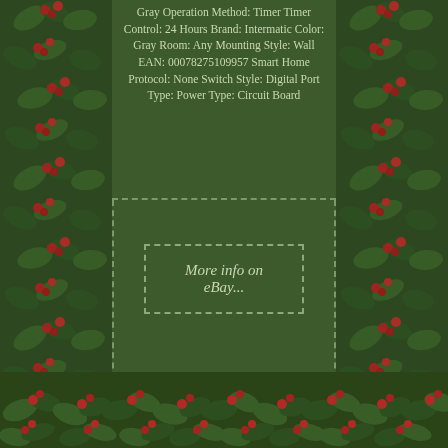Gray Operation Method: Timer Timer Control: 24 Hours Brand: Intermatic Color: Gray Room: Any Mounting Style: Wall EAN: 00078275109957 Smart Home Protocol: None Switch Style: Digital Port Type: Power Type: Circuit Board
[Figure (other): Button/link styled element with dashed border reading 'More info on eBay...']
Home
Sitemap
Contact
Privacy Policy
Terms of service